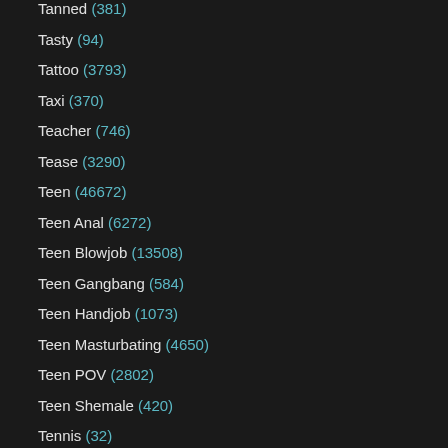Tanned (381)
Tasty (94)
Tattoo (3793)
Taxi (370)
Teacher (746)
Tease (3290)
Teen (46672)
Teen Anal (6272)
Teen Blowjob (13508)
Teen Gangbang (584)
Teen Handjob (1073)
Teen Masturbating (4650)
Teen POV (2802)
Teen Shemale (420)
Tennis (32)
Tentacle (16)